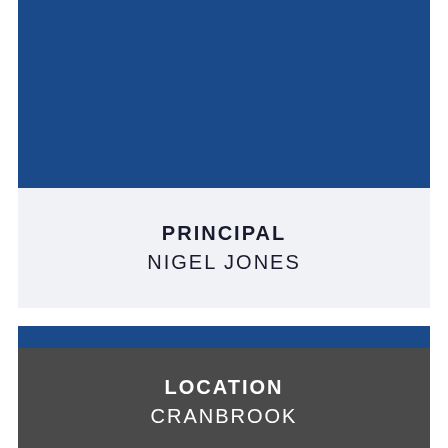[Figure (illustration): Large dark navy blue rectangle block at the top of the page]
PRINCIPAL
NIGEL JONES
[Figure (illustration): Large dark navy blue rectangle block in the lower section of the page]
LOCATION
CRANBROOK